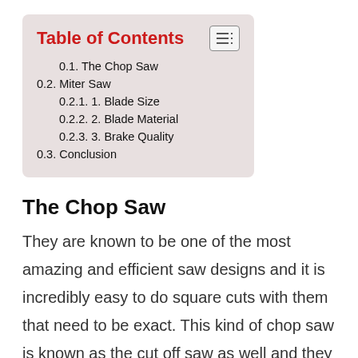Table of Contents
0.1. The Chop Saw
0.2. Miter Saw
0.2.1. 1. Blade Size
0.2.2. 2. Blade Material
0.2.3.  3. Brake Quality
0.3. Conclusion
The Chop Saw
They are known to be one of the most amazing and efficient saw designs and it is incredibly easy to do square cuts with them that need to be exact. This kind of chop saw is known as the cut off saw as well and they are considered to be power tools.